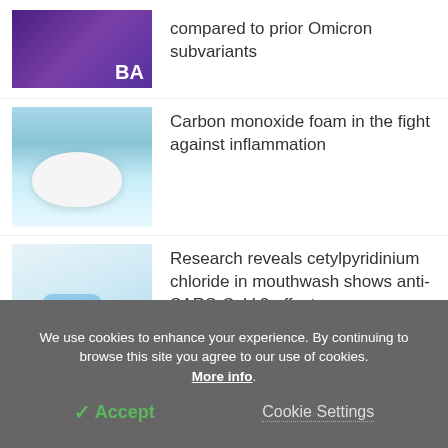[Figure (photo): Partial image of coronavirus BA variant, purple microscopic image with BA text]
compared to prior Omicron subvariants
[Figure (photo): White foam blob on light blue background]
Carbon monoxide foam in the fight against inflammation
[Figure (photo): Blue mouthwash being poured, with stethoscope visible]
Research reveals cetylpyridinium chloride in mouthwash shows anti-SARS-CoV-2 effects
We use cookies to enhance your experience. By continuing to browse this site you agree to our use of cookies. More info.